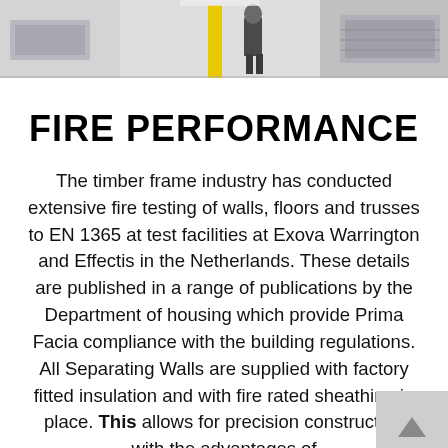[Figure (photo): Factory/warehouse interior scene with a worker, yellow pole, and industrial machinery/equipment visible in the background.]
FIRE PERFORMANCE
The timber frame industry has conducted extensive fire testing of walls, floors and trusses to EN 1365 at test facilities at Exova Warrington and Effectis in the Netherlands. These details are published in a range of publications by the Department of housing which provide Prima Facia compliance with the building regulations. All Separating Walls are supplied with factory fitted insulation and with fire rated sheathing in place. This allows for precision construction with the advantages of